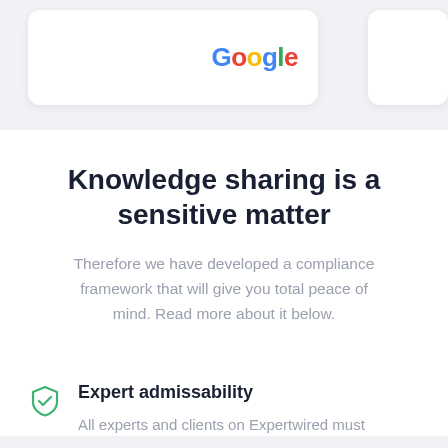[Figure (logo): Google logo in top card area]
Knowledge sharing is a sensitive matter
Therefore we have developed a compliance framework that will give you total peace of mind. Read more about it below.
Expert admissability
All experts and clients on Expertwired must